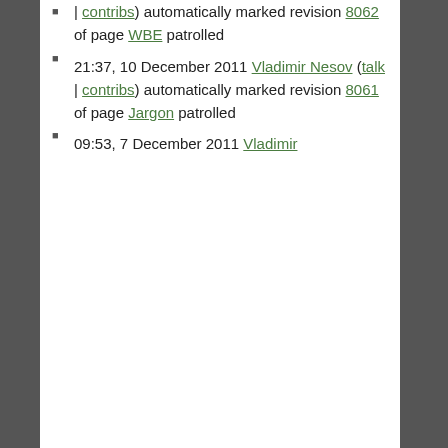| contribs) automatically marked revision 8062 of page WBE patrolled
21:37, 10 December 2011 Vladimir Nesov (talk | contribs) automatically marked revision 8061 of page Jargon patrolled
09:53, 7 December 2011 Vladimir